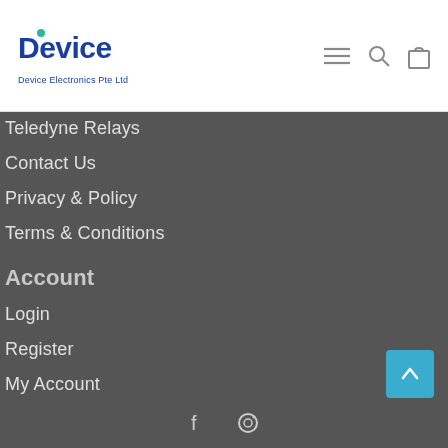[Figure (logo): Device Electronics Pte Ltd logo with blue text and teal dot accent]
Teledyne Relays
Contact Us
Privacy & Policy
Terms & Conditions
Account
Login
Register
My Account
My Cart
Order History